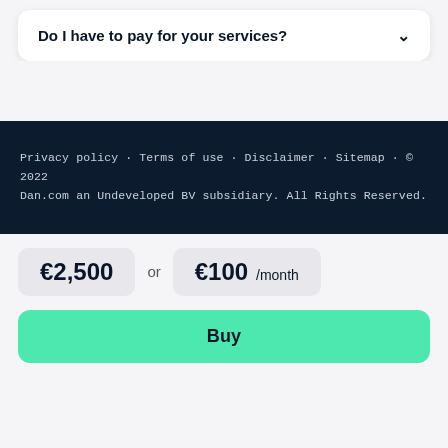Do I have to pay for your services?
Privacy policy · Terms of use · Disclaimer · Sitemap · © 2022 Dan.com an Undeveloped BV subsidiary. All Rights Reserved.
€2,500 or €100 /month
Buy